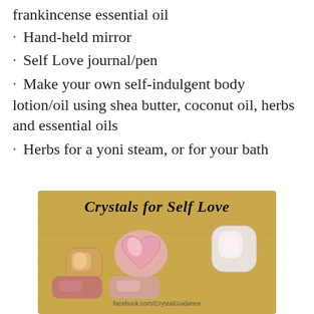frankincense essential oil
· Hand-held mirror
· Self Love journal/pen
· Make your own self-indulgent body lotion/oil using shea butter, coconut oil, herbs and essential oils
· Herbs for a yoni steam, or for your bath
[Figure (photo): Photo of rose quartz and other crystals on a golden fabric background, titled 'Crystals for Self Love' with facebook.com/CrystalGuidance watermark]